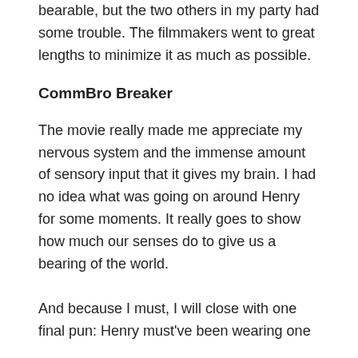bearable, but the two others in my party had some trouble. The filmmakers went to great lengths to minimize it as much as possible.
CommBro Breaker
The movie really made me appreciate my nervous system and the immense amount of sensory input that it gives my brain. I had no idea what was going on around Henry for some moments. It really goes to show how much our senses do to give us a bearing of the world.
And because I must, I will close with one final pun: Henry must've been wearing one